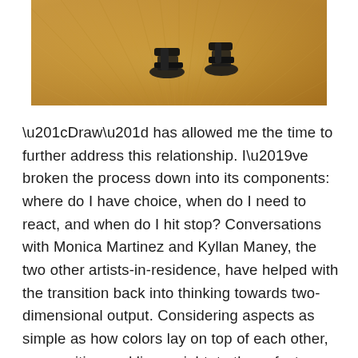[Figure (photo): A photograph showing feet wearing black sandals standing on a golden/amber colored wooden floor with radiating grain patterns.]
“Draw” has allowed me the time to further address this relationship. I’ve broken the process down into its components: where do I have choice, when do I need to react, and when do I hit stop? Conversations with Monica Martinez and Kyllan Maney, the two other artists-in-residence, have helped with the transition back into thinking towards two-dimensional output. Considering aspects as simple as how colors lay on top of each other, composition and line weight, to those factors as detailed as the viscosity of paint and pigments, I’ve become a painter. Although to study these things I’ve had make more paintings resulting in more failures; some winding up so